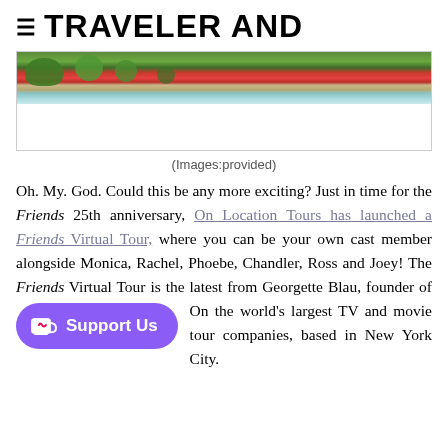TRAVELER AND
[Figure (photo): Photo strip showing a street scene with trees and a red double-decker bus, partial view with white space below]
(Images:provided)
Oh. My. God. Could this be any more exciting? Just in time for the Friends 25th anniversary, On Location Tours has launched a Friends Virtual Tour, where you can be your own cast member alongside Monica, Rachel, Phoebe, Chandler, Ross and Joey! The Friends Virtual Tour is the latest from Georgette Blau, founder of On [Support Us] the world's largest TV and movie tour companies, based in New York City.